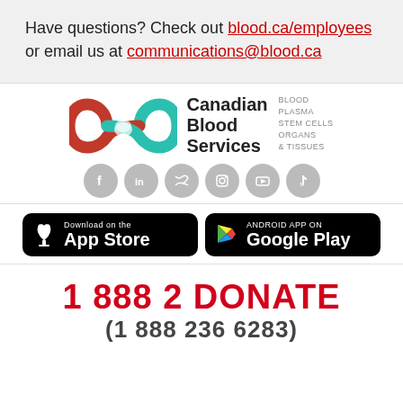Have questions? Check out blood.ca/employees or email us at communications@blood.ca
[Figure (logo): Canadian Blood Services infinity loop logo in red and teal with text: Canadian Blood Services, BLOOD PLASMA STEM CELLS ORGANS & TISSUES]
[Figure (infographic): Social media icons row: Facebook, LinkedIn, Twitter, Instagram, YouTube, TikTok — all in gray circles]
[Figure (infographic): App store download buttons: 'Download on the App Store' (Apple) and 'ANDROID APP ON Google Play' (Google Play), both on black rounded rectangles]
1 888 2 DONATE
(1 888 236 6283)